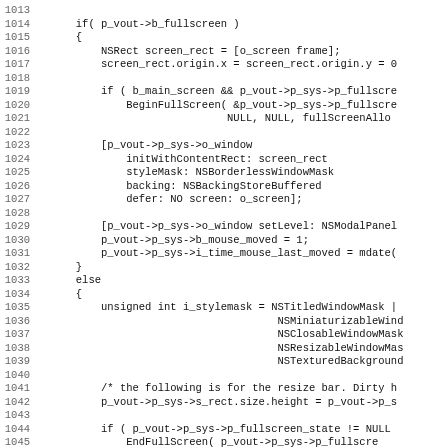[Figure (screenshot): Source code listing in monospace font showing C/Objective-C code lines 1013 to 1045, implementing fullscreen and windowed display modes using macOS Cocoa APIs.]